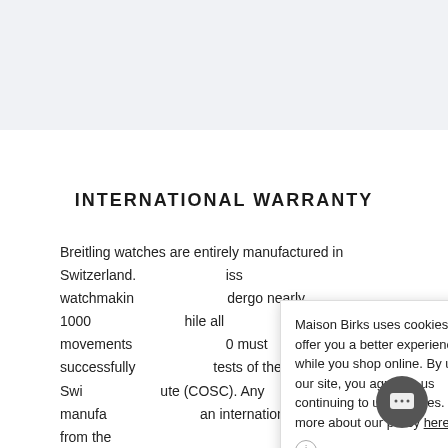INTERNATIONAL WARRANTY
Breitling watches are entirely manufactured in Switzerland. [partially obscured] iss watchmaking [partially obscured] dergo nearly 1000 [partially obscured] hile all movements [partially obscured] 0 must successfully [partially obscured] tests of the Official Swi[ss] [partially obscured] ute (COSC). Any manufa[cturing defects] [partially obscured] an internationa[l] [partially obscured] rs from the
Maison Birks uses cookies to offer you a better experience while you shop online. By using our site, you agree to us continuing to use cookies. Learn more about our policy here.